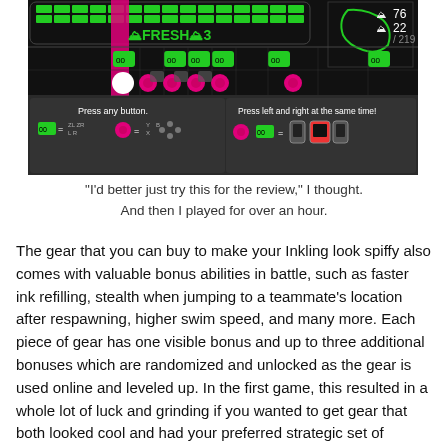[Figure (screenshot): A screenshot of a rhythm/mini-game from Splatoon 2 showing a dark interface with green and pink/magenta colored buttons/icons on a black background. At the top is a row with green bricks and game UI. The middle shows pink circular icons and green square icons arranged in rows. The bottom portion shows a dialog box with text 'Press any button.' on the left and 'Press left and right at the same time!' on the right, with button prompt icons.]
"I'd better just try this for the review," I thought.
And then I played for over an hour.
The gear that you can buy to make your Inkling look spiffy also comes with valuable bonus abilities in battle, such as faster ink refilling, stealth when jumping to a teammate's location after respawning, higher swim speed, and many more. Each piece of gear has one visible bonus and up to three additional bonuses which are randomized and unlocked as the gear is used online and leveled up. In the first game, this resulted in a whole lot of luck and grinding if you wanted to get gear that both looked cool and had your preferred strategic set of abilities. This time around, there are couple options to ease the process: bonus attributes can be scrubbed from gear and then reattached to other gear